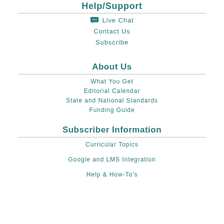Help/Support
Live Chat
Contact Us
Subscribe
About Us
What You Get
Editorial Calendar
State and National Standards
Funding Guide
Subscriber Information
Curricular Topics
Google and LMS Integration
Help & How-To's